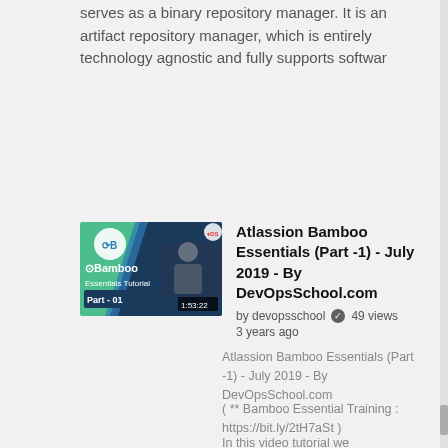serves as a binary repository manager. It is an artifact repository manager, which is entirely technology agnostic and fully supports softwar
[Figure (screenshot): Video thumbnail for Atlassion Bamboo Essentials Part 01 tutorial with duration 1:53:22, showing green and blue design with Bamboo logo and a presenter]
Atlassion Bamboo Essentials (Part -1) - July 2019 - By DevOpsSchool.com
by devopsschool  ✓  49 views
3 years ago
Atlassion Bamboo Essentials (Part -1) - July 2019 - By DevOpsSchool.com
( ** Bamboo Essential Training : https://bit.ly/2tH7aSt )
In this video tutorial we
[Figure (screenshot): Partial video thumbnail for Atlassion Bamboo Essentials Part 2, showing similar design]
Atlassion Bamboo Essentials (Part